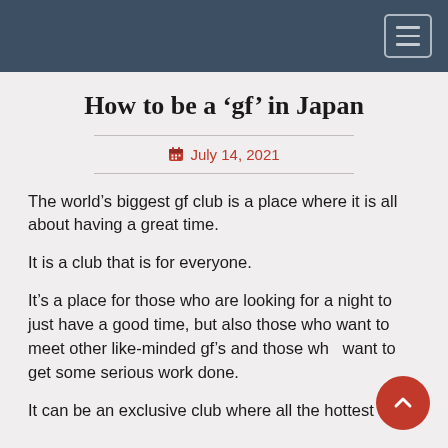Navigation bar with hamburger menu
How to be a ‘gf’ in Japan
July 14, 2021
The world’s biggest gf club is a place where it is all about having a great time.
It is a club that is for everyone.
It’s a place for those who are looking for a night to just have a good time, but also those who want to meet other like-minded gf’s and those who want to get some serious work done.
It can be an exclusive club where all the hottest